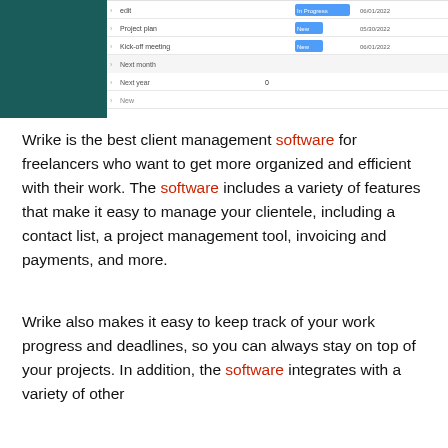[Figure (screenshot): Screenshot of a project management interface (Wrike) showing a task list with columns for task name, status (In Progress, New), and dates. Tasks include entries like 'Project plan', 'Kick-off meeting', 'Next month', 'Next year'. Left side shows a dark teal/green sidebar panel.]
Wrike is the best client management software for freelancers who want to get more organized and efficient with their work. The software includes a variety of features that make it easy to manage your clientele, including a contact list, a project management tool, invoicing and payments, and more.
Wrike also makes it easy to keep track of your work progress and deadlines, so you can always stay on top of your projects. In addition, the software integrates with a variety of other...